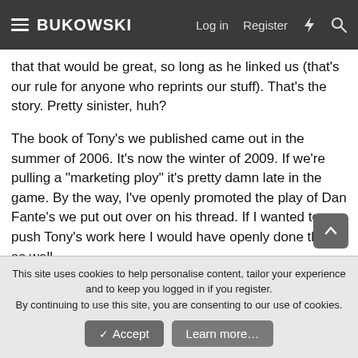BUKOWSKI | Log in | Register
that that would be great, so long as he linked us (that's our rule for anyone who reprints our stuff). That's the story. Pretty sinister, huh?
The book of Tony's we published came out in the summer of 2006. It's now the winter of 2009. If we're pulling a "marketing ploy" it's pretty damn late in the game. By the way, I've openly promoted the play of Dan Fante's we put out over on his thread. If I wanted to push Tony's work here I would have openly done that as well.
I really wish you would have contacted us privately if you thought something fishy was going on. Public misunderstandings like this just end up hurting everyone.
This site uses cookies to help personalise content, tailor your experience and to keep you logged in if you register.
By continuing to use this site, you are consenting to our use of cookies.